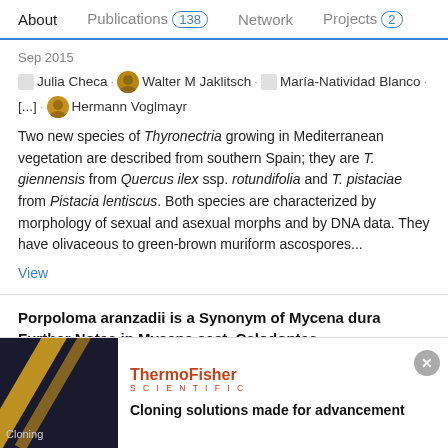About  Publications 138  Network  Projects 2
Sep 2015
Julia Checa · Walter M Jaklitsch · María-Natividad Blanco · [...] · Hermann Voglmayr
Two new species of Thyronectria growing in Mediterranean vegetation are described from southern Spain; they are T. giennensis from Quercus ilex ssp. rotundifolia and T. pistaciae from Pistacia lentiscus. Both species are characterized by morphology of sexual and asexual morphs and by DNA data. They have olivaceous to green-brown muriform ascospores...
View
Porpoloma aranzadii is a Synonym of Mycena dura Further Notes in Mycena sect. Calodontes
[Figure (screenshot): Advertisement for ThermoFisher Scientific: Cloning solutions made for advancement. Dark background image with yellow/gold diagonal lines on left, dots pattern with 'Cloning' label. ThermoFisher Scientific logo in red/orange. Tagline: Cloning solutions made for advancement.]